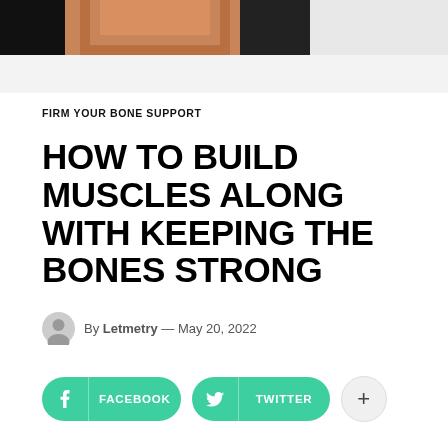[Figure (photo): Cropped photo of a person's face/torso at the top of the page, dark toned]
FIRM YOUR BONE SUPPORT
HOW TO BUILD MUSCLES ALONG WITH KEEPING THE BONES STRONG
By Letmetry — May 20, 2022
FACEBOOK  TWITTER  +